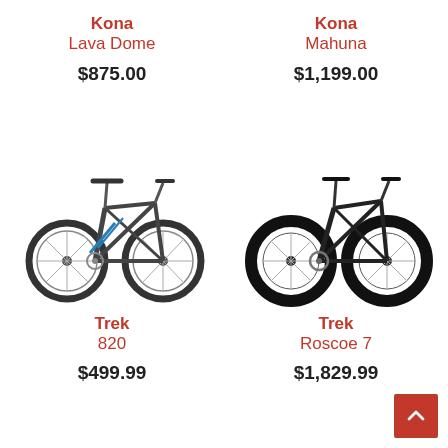Kona
Lava Dome
$875.00
Kona
Mahuna
$1,199.00
[Figure (photo): Trek 820 mountain bike, dark gray frame with blue accents, side view]
[Figure (photo): Trek Roscoe 7 mountain bike, black frame with fat tires, side view]
Trek
820
$499.99
Trek
Roscoe 7
$1,829.99